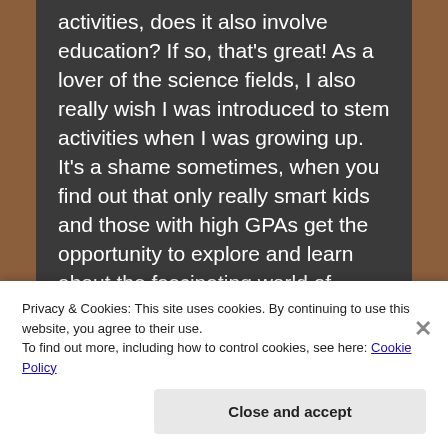activities, does it also involve education? If so, that's great! As a lover of the science fields, I also really wish I was introduced to stem activities when I was growing up. It's a shame sometimes, when you find out that only really smart kids and those with high GPAs get the opportunity to explore and learn about the fascinating world of science at a very young age. I wish more inclusive educational summer and extracurricular programs could be made available to all students interested in learning about a particular academic subject
Privacy & Cookies: This site uses cookies. By continuing to use this website, you agree to their use.
To find out more, including how to control cookies, see here: Cookie Policy